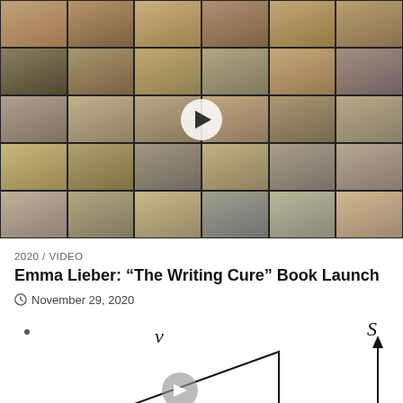[Figure (screenshot): Video thumbnail of a Zoom/video call with approximately 30 participants shown in a grid layout, with a white play button circle in the center]
2020 / VIDEO
Emma Lieber: "The Writing Cure" Book Launch
November 29, 2020
[Figure (other): Partial diagram showing a triangle shape with italic letter v above it and an upward arrow labeled s to the right, with a play button circle at the bottom of the triangle. Only the top portion is visible.]